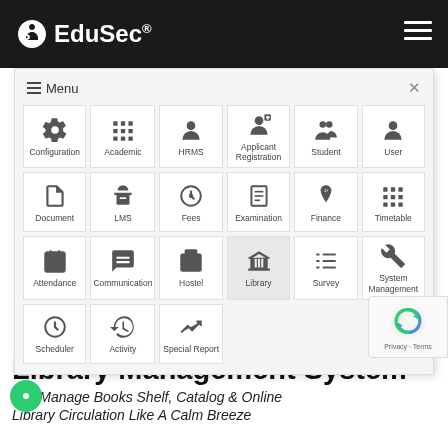EduSec® [menu icon]
[Figure (screenshot): EduSec navigation menu overlay showing a grid of module icons: Configuration, Academic, HRMS, Applicant Registration, Student, User, Document, LMS, Fees, Examination, Finance, Timetable, Attendance, Communication, Hostel, Library (active/highlighted), Survey, System Management, Scheduler, Activity, Special Report]
Library Management System
and Manage Books Shelf, Catalog & Online Library Circulation Like A Calm Breeze